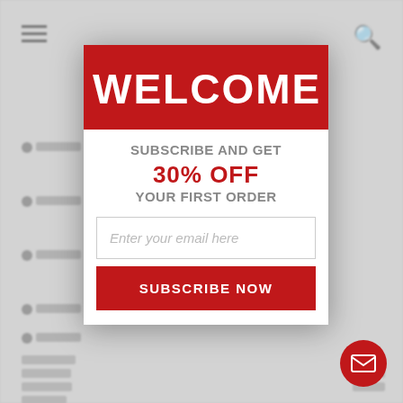[Figure (screenshot): Background webpage with hamburger menu icon, search icon, bullet list items, and paragraph text, dimmed behind a modal overlay]
WELCOME
SUBSCRIBE AND GET
30% OFF
YOUR FIRST ORDER
Enter your email here
SUBSCRIBE NOW
[Figure (illustration): Red circular mail/envelope icon button in bottom-right corner]